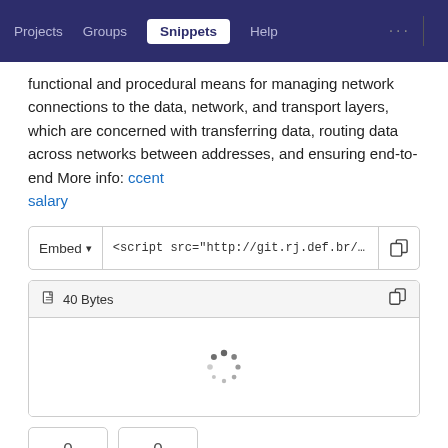Projects   Groups   Snippets   Help   ...
functional and procedural means for managing network connections to the data, network, and transport layers, which are concerned with transferring data, routing data across networks between addresses, and ensuring end-to-end More info: ccent salary
[Figure (screenshot): Embed row with dropdown and script URL input field and copy button]
[Figure (screenshot): File box showing 40 Bytes with a loading spinner]
[Figure (screenshot): Two counter buttons both showing 0]
Please register or sign in to comment